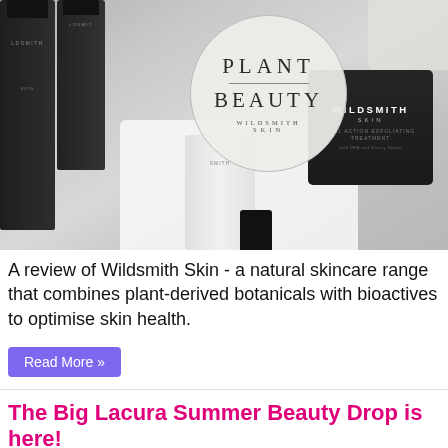[Figure (photo): Wildsmith Skin product photo showing dark bottles and jars alongside a circular 'Plant Beauty Wildsmith Skin' badge/logo on a light grey background]
A review of Wildsmith Skin - a natural skincare range that combines plant-derived botanicals with bioactives to optimise skin health.
Read More »
The Big Lacura Summer Beauty Drop is here!
July 14, 2022